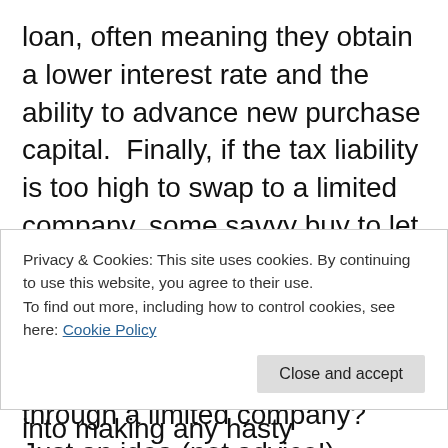loan, often meaning they obtain a lower interest rate and the ability to advance new purchase capital.  Finally, if the tax liability is too high to swap to a limited company, some savvy buy to let investors are leaving their existing portfolios in their personal name whilst purchasing any new investment through a limited company?  Just an idea (not advice!).
It’s vital that landlords get the very best guidance and information from tax
Privacy & Cookies: This site uses cookies. By continuing to use this website, you agree to their use.
To find out more, including how to control cookies, see here: Cookie Policy
into making any hasty decisions.  The